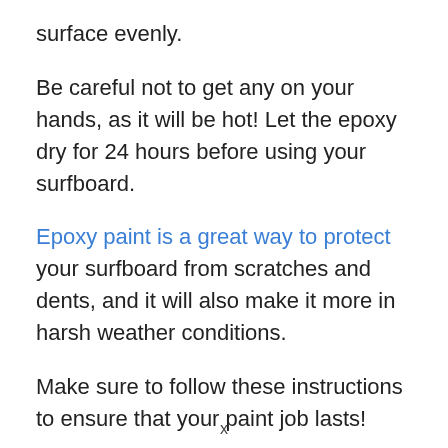surface evenly.
Be careful not to get any on your hands, as it will be hot! Let the epoxy dry for 24 hours before using your surfboard.
Epoxy paint is a great way to protect your surfboard from scratches and dents, and it will also make it more in harsh weather conditions.
Make sure to follow these instructions to ensure that your paint job lasts!
x